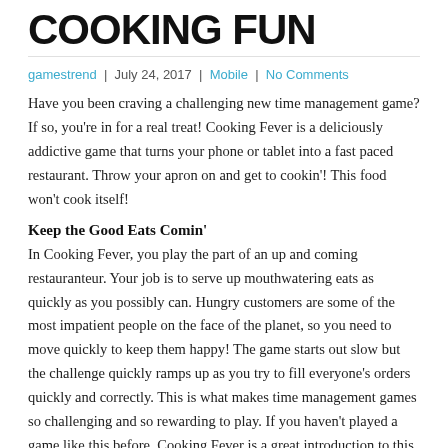COOKING FUN
gamestrend  |  July 24, 2017  |  Mobile  |  No Comments
Have you been craving a challenging new time management game? If so, you're in for a real treat! Cooking Fever is a deliciously addictive game that turns your phone or tablet into a fast paced restaurant. Throw your apron on and get to cookin'! This food won't cook itself!
Keep the Good Eats Comin'
In Cooking Fever, you play the part of an up and coming restauranteur. Your job is to serve up mouthwatering eats as quickly as you possibly can. Hungry customers are some of the most impatient people on the face of the planet, so you need to move quickly to keep them happy! The game starts out slow but the challenge quickly ramps up as you try to fill everyone's orders quickly and correctly. This is what makes time management games so challenging and so rewarding to play. If you haven't played a game like this before, Cooking Fever is a great introduction to this genre.